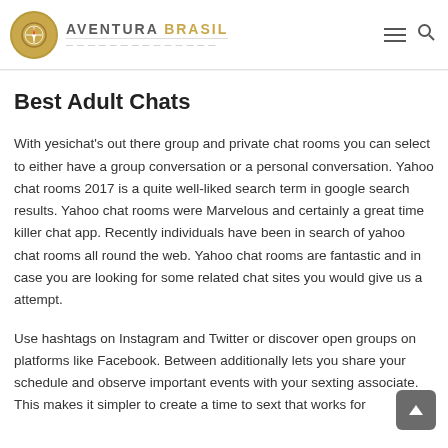AVENTURA BRASIL
Best Adult Chats
With yesichat's out there group and private chat rooms you can select to either have a group conversation or a personal conversation. Yahoo chat rooms 2017 is a quite well-liked search term in google search results. Yahoo chat rooms were Marvelous and certainly a great time killer chat app. Recently individuals have been in search of yahoo chat rooms all round the web. Yahoo chat rooms are fantastic and in case you are looking for some related chat sites you would give us a attempt.
Use hashtags on Instagram and Twitter or discover open groups on platforms like Facebook. Between additionally lets you share your schedule and observe important events with your sexting associate. This makes it simpler to create a time to sext that works for